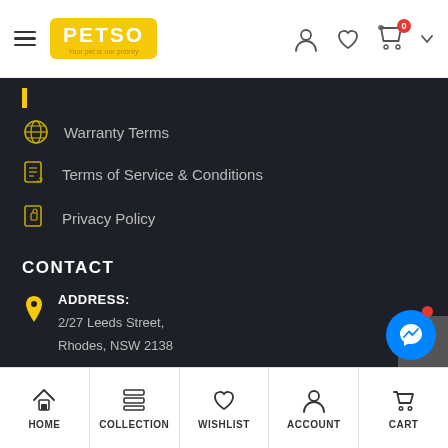PETSO — Your pet is our priority. Navigation header with hamburger menu, logo, user icon, wishlist icon, cart icon (0 items), and dropdown arrow.
Warranty Terms
Terms of Service & Conditions
Privacy Policy
CONTACT
ADDRESS: 2/27 Leeds Street, Rhodes, NSW 2138
BUSINESS DAYS/HOURS:
HOME | COLLECTION | WISHLIST | ACCOUNT | CART